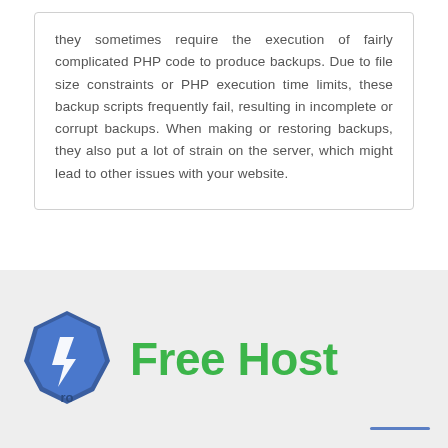they sometimes require the execution of fairly complicated PHP code to produce backups. Due to file size constraints or PHP execution time limits, these backup scripts frequently fail, resulting in incomplete or corrupt backups. When making or restoring backups, they also put a lot of strain on the server, which might lead to other issues with your website.
[Figure (logo): 1Pro logo: a blue faceted gem/diamond shape with a lightning bolt and the text 'ro' beneath the numeral 1, followed by the green bold text 'Free Host']